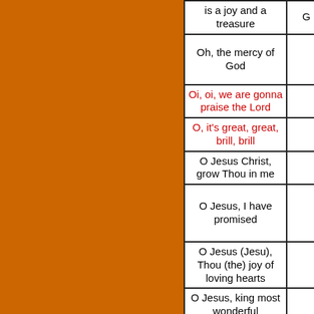| Song Title |  |
| --- | --- |
| is a joy and a treasure | G |
| Oh, the mercy of God |  |
| Oi, oi, we are gonna praise the Lord |  |
| O, it's great, great, brill, brill |  |
| O Jesus Christ, grow Thou in me |  |
| O Jesus, I have promised |  |
| O Jesus (Jesu), Thou (the) joy of loving hearts |  |
| O Jesus, king most wonderful |  |
| O King enthroned on high |  |
| O let the Son of God enfold you | J |